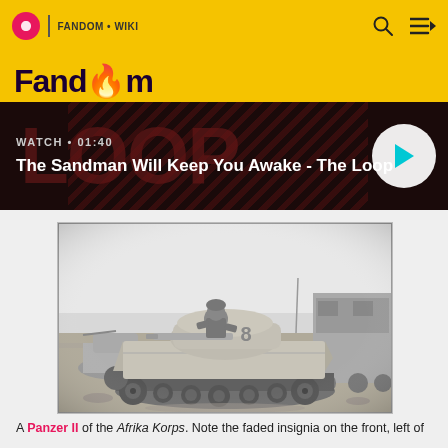Fandom | WATCH • 01:40
[Figure (screenshot): Fandom website top navigation bar with yellow background, circle logo, search and menu icons]
[Figure (screenshot): Video banner for 'The Sandman Will Keep You Awake - The Loop' with dark background, LOOP text, diagonal stripes overlay, and circular play button]
[Figure (photo): Black and white historical photograph of a Panzer II tank of the Afrika Korps with a soldier sitting on top, numbered 8 on the turret, desert terrain background with other vehicles]
A Panzer II of the Afrika Korps. Note the faded insignia on the front, left of